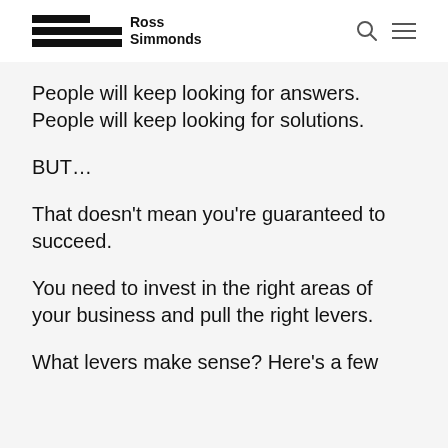Ross Simmonds
People will keep looking for answers. People will keep looking for solutions.
BUT…
That doesn't mean you're guaranteed to succeed.
You need to invest in the right areas of your business and pull the right levers.
What levers make sense? Here's a few